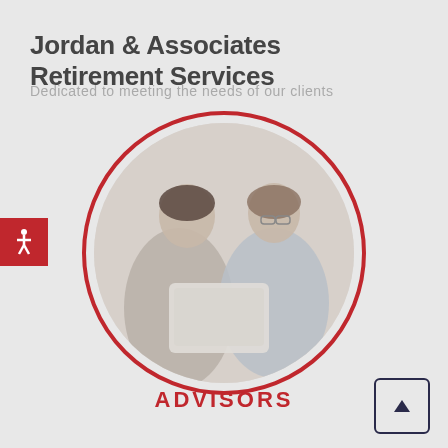Jordan & Associates Retirement Services
Dedicated to meeting the needs of our clients
[Figure (photo): Two professional women advisors looking at a tablet together, displayed inside a circular frame with a red border ring]
ADVISORS